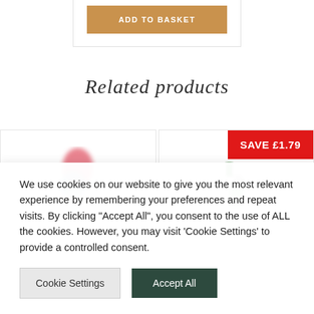[Figure (screenshot): Add to Basket button on a product card]
Related products
[Figure (photo): Product thumbnail - cleaning spray bottle with red and blue colors, blurred]
[Figure (photo): Product thumbnail - green spray bottle with SAVE £1.79 badge]
We use cookies on our website to give you the most relevant experience by remembering your preferences and repeat visits. By clicking "Accept All", you consent to the use of ALL the cookies. However, you may visit 'Cookie Settings' to provide a controlled consent.
Cookie Settings
Accept All